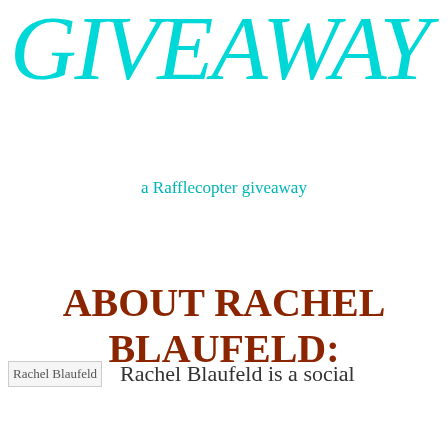GIVEAWAY
a Rafflecopter giveaway
ABOUT RACHEL BLAUFELD:
Rachel Blaufeld    Rachel Blaufeld is a social